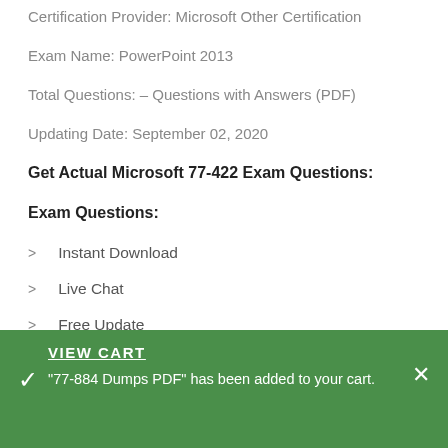Certification Provider: Microsoft Other Certification
Exam Name: PowerPoint 2013
Total Questions: – Questions with Answers (PDF)
Updating Date: September 02, 2020
Get Actual Microsoft 77-422 Exam Questions:
Exam Questions:
Instant Download
Live Chat
Free Update
Quick Respond
VIEW CART
"77-884 Dumps PDF" has been added to your cart.